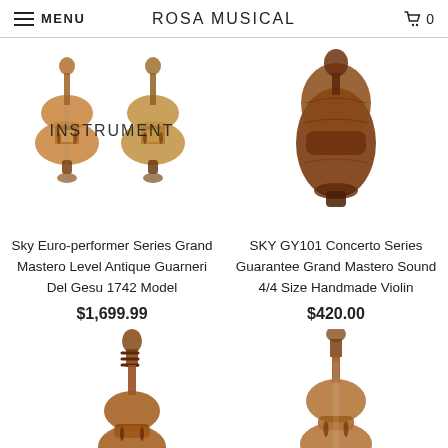MENU  ROSA MUSICAL  0
[Figure (photo): Two violins shown front and back view, antique finish, with INSTRUMENT label overlay]
[Figure (photo): Violin body side/back view, dark reddish-brown wood grain]
Sky Euro-performer Series Grand Mastero Level Antique Guarneri Del Gesu 1742 Model
$1,699.99
SKY GY101 Concerto Series Guarantee Grand Mastero Sound 4/4 Size Handmade Violin
$420.00
[Figure (photo): Violin shown at angle, antique brown finish, scroll and body visible]
[Figure (photo): Violin front view, antique finish, partially visible]